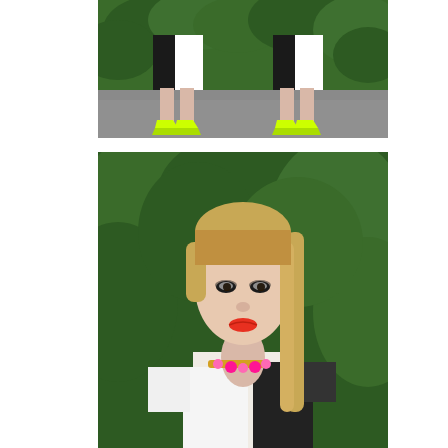[Figure (photo): Two people from the waist down wearing black and white skirts with neon yellow pointed-toe heels, standing on a grey pavement with green hedges in the background]
[Figure (photo): Close-up portrait of a blonde woman with long straight hair pulled back, wearing dark eye makeup and bright red-orange lipstick, a white and black color-block short-sleeve top, and a pink statement necklace, with green hedges in the background]